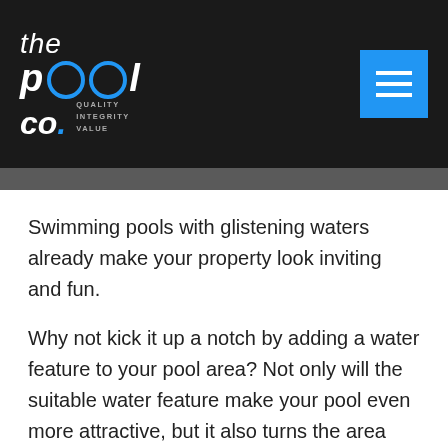[Figure (logo): The Pool Co. logo with tagline QUALITY INTEGRITY VALUE on dark background with blue menu button]
Swimming pools with glistening waters already make your property look inviting and fun.
Why not kick it up a notch by adding a water feature to your pool area? Not only will the suitable water feature make your pool even more attractive, but it also turns the area into a relaxing haven – your very own home spa.